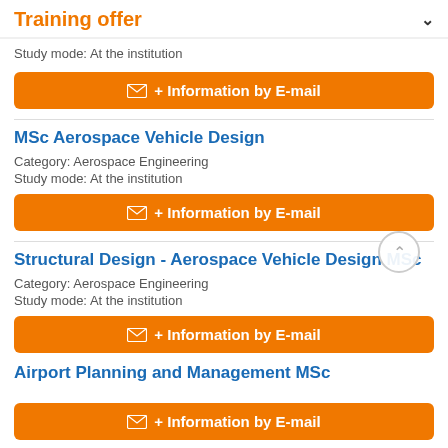Training offer
Study mode: At the institution
+ Information by E-mail
MSc Aerospace Vehicle Design
Category: Aerospace Engineering
Study mode: At the institution
+ Information by E-mail
Structural Design - Aerospace Vehicle Design MSc
Category: Aerospace Engineering
Study mode: At the institution
+ Information by E-mail
Airport Planning and Management MSc
+ Information by E-mail